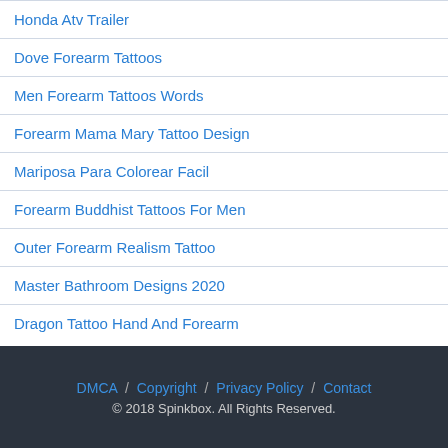Honda Atv Trailer
Dove Forearm Tattoos
Men Forearm Tattoos Words
Forearm Mama Mary Tattoo Design
Mariposa Para Colorear Facil
Forearm Buddhist Tattoos For Men
Outer Forearm Realism Tattoo
Master Bathroom Designs 2020
Dragon Tattoo Hand And Forearm
DMCA / Copyright / Privacy Policy / Contact
© 2018 Spinkbox. All Rights Reserved.